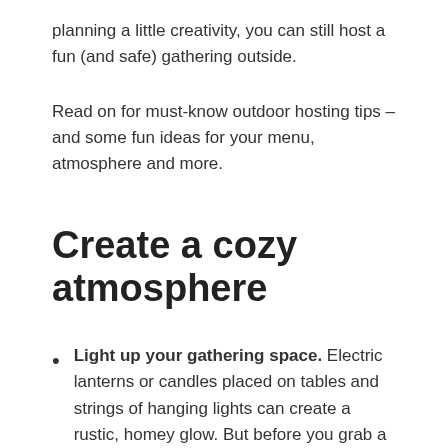planning a little creativity, you can still host a fun (and safe) gathering outside.
Read on for must-know outdoor hosting tips – and some fun ideas for your menu, atmosphere and more.
Create a cozy atmosphere
Light up your gathering space. Electric lanterns or candles placed on tables and strings of hanging lights can create a rustic, homey glow. But before you grab a box of lights and your extension cords, make sure you check out our related post: 7 Safety